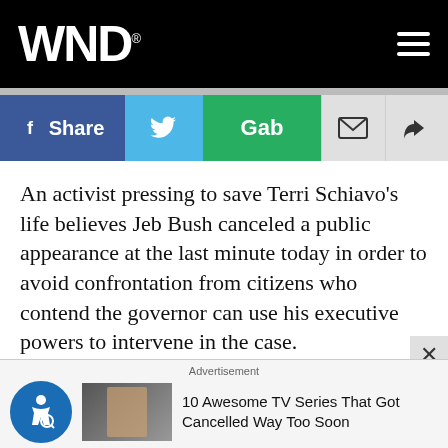WND
[Figure (screenshot): Social share bar with Facebook Share, Twitter, Gab, email, and forward buttons]
An activist pressing to save Terri Schiavo's life believes Jeb Bush canceled a public appearance at the last minute today in order to avoid confrontation from citizens who contend the governor can use his executive powers to intervene in the case.
Bush was expected to attend an outdoor Good Friday service at 12:30 p.m. at Florida State University in
[Figure (infographic): Advertisement bar: accessibility icon, thumbnail image, text '10 Awesome TV Series That Got Cancelled Way Too Soon']